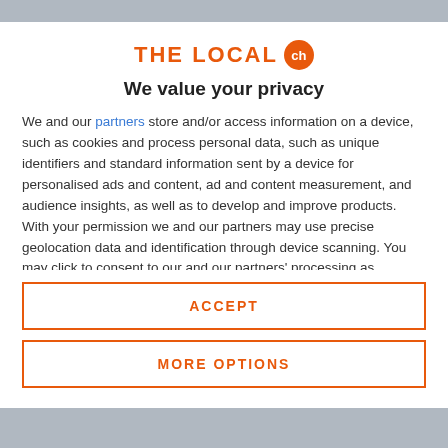[Figure (logo): THE LOCAL ch logo — orange uppercase text with orange circle badge containing 'ch']
We value your privacy
We and our partners store and/or access information on a device, such as cookies and process personal data, such as unique identifiers and standard information sent by a device for personalised ads and content, ad and content measurement, and audience insights, as well as to develop and improve products. With your permission we and our partners may use precise geolocation data and identification through device scanning. You may click to consent to our and our partners' processing as described above. Alternatively you may access more detailed information and change your preferences before consenting
ACCEPT
MORE OPTIONS